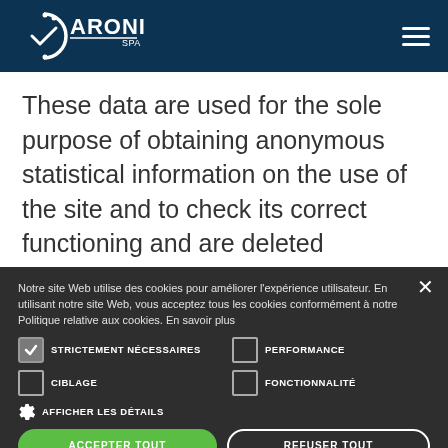CARONI SPA
These data are used for the sole purpose of obtaining anonymous statistical information on the use of the site and to check its correct functioning and are deleted immediately after
Notre site Web utilise des cookies pour améliorer l'expérience utilisateur. En utilisant notre site Web, vous acceptez tous les cookies conformément à notre Politique relative aux cookies. En savoir plus
STRICTEMENT NÉCESSAIRES
PERFORMANCE
CIBLAGE
FONCTIONNALITÉ
AFFICHER LES DÉTAILS
ACCEPTER TOUT
REFUSER TOUT